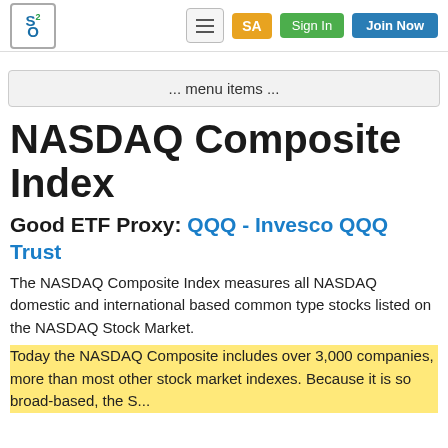S2O | SA | Sign In | Join Now
... menu items ...
NASDAQ Composite Index
Good ETF Proxy: QQQ - Invesco QQQ Trust
The NASDAQ Composite Index measures all NASDAQ domestic and international based common type stocks listed on the NASDAQ Stock Market.
Today the NASDAQ Composite includes over 3,000 companies, more than most other stock market indexes. Because it is so broad-based, the...